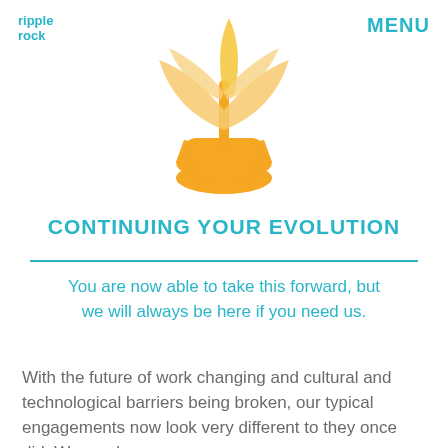ripple rock | MENU
[Figure (illustration): A stylized yellow/golden plant sprout illustration with large leaves growing from a rounded base, centered at the top of the page]
CONTINUING YOUR EVOLUTION
You are now able to take this forward, but we will always be here if you need us.
With the future of work changing and cultural and technological barriers being broken, our typical engagements now look very different to they once did. We can be